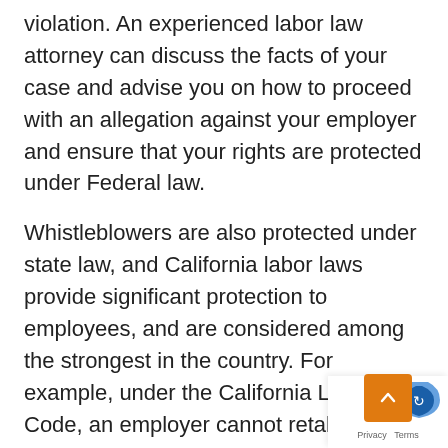violation. An experienced labor law attorney can discuss the facts of your case and advise you on how to proceed with an allegation against your employer and ensure that your rights are protected under Federal law.
Whistleblowers are also protected under state law, and California labor laws provide significant protection to employees, and are considered among the strongest in the country. For example, under the California Labor Code, an employer cannot retaliate against a whistleblower if the employee “reasonably” believes a violation has occurred which is considered a lower